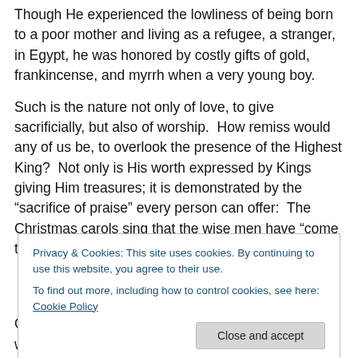Though He experienced the lowliness of being born to a poor mother and living as a refugee, a stranger, in Egypt, he was honored by costly gifts of gold, frankincense, and myrrh when a very young boy.
Such is the nature not only of love, to give sacrificially, but also of worship.  How remiss would any of us be, to overlook the presence of the Highest King?  Not only is His worth expressed by Kings giving Him treasures; it is demonstrated by the “sacrifice of praise” every person can offer:  The Christmas carols sing that the wise men have “come to pay Him homage,” Old French “allegiance or...
Privacy & Cookies: This site uses cookies. By continuing to use this website, you agree to their use.
To find out more, including how to control cookies, see here: Cookie Policy
Old English was leoð, “song, poem, hymn”.  He is worthy